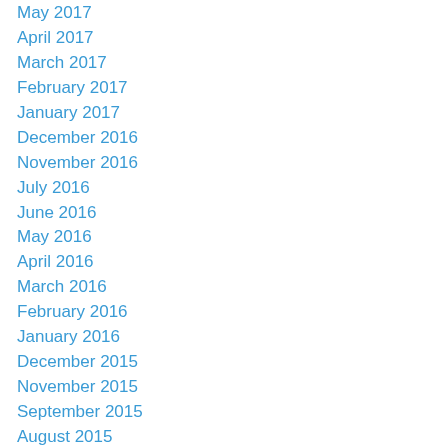May 2017
April 2017
March 2017
February 2017
January 2017
December 2016
November 2016
July 2016
June 2016
May 2016
April 2016
March 2016
February 2016
January 2016
December 2015
November 2015
September 2015
August 2015
July 2015
June 2015